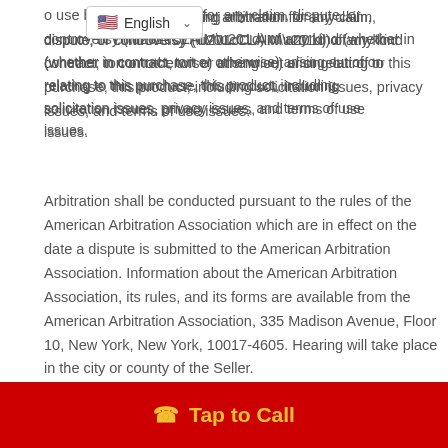[Figure (screenshot): Language selector dropdown showing US flag and 'English' with a dropdown arrow]
to use binding arbitration for any claim, dispute, or controversy (“CLAIM”) of any kind (whether in contract, tort or otherwise) arising out of or relating to this purchase, this product, including solicitation issues, privacy issues, and terms of use issues.
Arbitration shall be conducted pursuant to the rules of the American Arbitration Association which are in effect on the date a dispute is submitted to the American Arbitration Association. Information about the American Arbitration Association, its rules, and its forms are available from the American Arbitration Association, 335 Madison Avenue, Floor 10, New York, New York, 10017-4605. Hearing will take place in the city or county of the Seller.
In no case shall the viewer, visitor, member,
[Figure (screenshot): Red call-to-action bar at the bottom with yellow phone icon and 'Tap to Call' text]